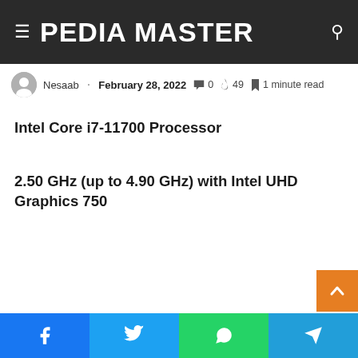PEDIA MASTER
Nesaab · February 28, 2022  0  49  1 minute read
Intel Core i7-11700 Processor
2.50 GHz (up to 4.90 GHz) with Intel UHD Graphics 750